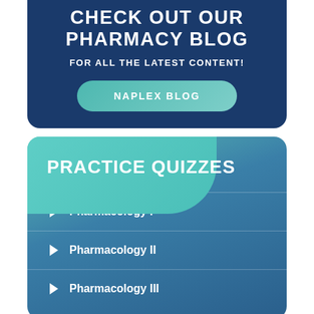CHECK OUT OUR PHARMACY BLOG
FOR ALL THE LATEST CONTENT!
NAPLEX BLOG
PRACTICE QUIZZES
Pharmacology I
Pharmacology II
Pharmacology III